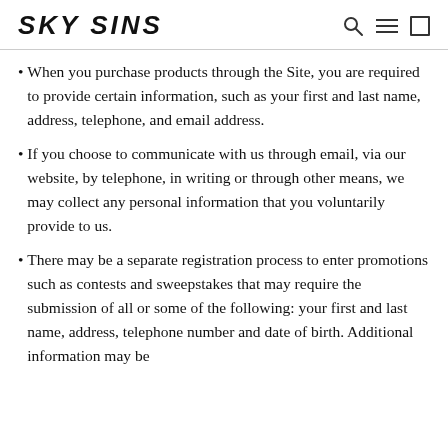SKY SINS
When you purchase products through the Site, you are required to provide certain information, such as your first and last name, address, telephone, and email address.
If you choose to communicate with us through email, via our website, by telephone, in writing or through other means, we may collect any personal information that you voluntarily provide to us.
There may be a separate registration process to enter promotions such as contests and sweepstakes that may require the submission of all or some of the following: your first and last name, address, telephone number and date of birth. Additional information may be